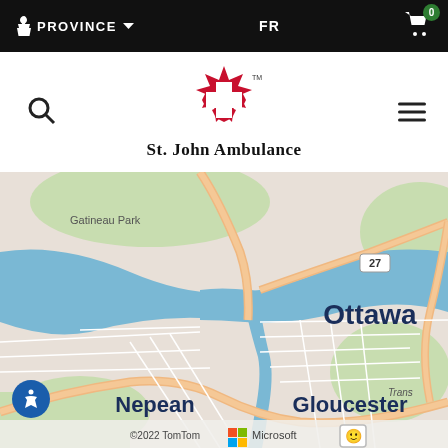PROVINCE  FR  0
[Figure (logo): St. John Ambulance logo with red maple leaf and white Maltese cross, with text 'St. John Ambulance' below]
[Figure (map): TomTom/Microsoft map showing Ottawa area including Gatineau Park, Ottawa (labeled in bold navy), Nepean, Gloucester, highway 27, Trans-Canada highway, Ottawa River and Rideau River in blue. Copyright 2022 TomTom, Microsoft branding shown at bottom.]